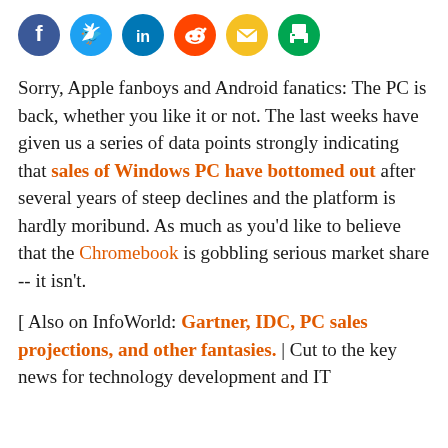[Figure (other): Social media sharing icons: Facebook (blue), Twitter (blue), LinkedIn (blue), Reddit (orange-red), Email (yellow), Print (green)]
Sorry, Apple fanboys and Android fanatics: The PC is back, whether you like it or not. The last weeks have given us a series of data points strongly indicating that sales of Windows PC have bottomed out after several years of steep declines and the platform is hardly moribund. As much as you'd like to believe that the Chromebook is gobbling serious market share -- it isn't.
[ Also on InfoWorld: Gartner, IDC, PC sales projections, and other fantasies. | Cut to the key news for technology development and IT